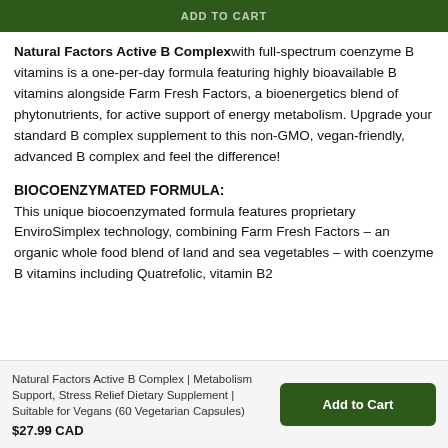ADD TO CART
Natural Factors Active B Complex with full-spectrum coenzyme B vitamins is a one-per-day formula featuring highly bioavailable B vitamins alongside Farm Fresh Factors, a bioenergetics blend of phytonutrients, for active support of energy metabolism. Upgrade your standard B complex supplement to this non-GMO, vegan-friendly, advanced B complex and feel the difference!
BIOCOENZYMATED FORMULA:
This unique biocoenzymated formula features proprietary EnviroSimplex technology, combining Farm Fresh Factors – an organic whole food blend of land and sea vegetables – with coenzyme B vitamins including Quatrefolic, vitamin B2
Natural Factors Active B Complex | Metabolism Support, Stress Relief Dietary Supplement | Suitable for Vegans (60 Vegetarian Capsules)
$27.99 CAD